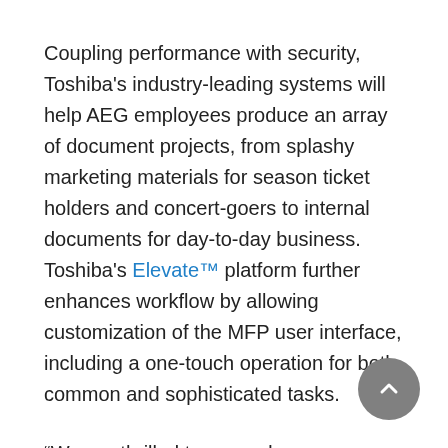Coupling performance with security, Toshiba's industry-leading systems will help AEG employees produce an array of document projects, from splashy marketing materials for season ticket holders and concert-goers to internal documents for day-to-day business. Toshiba's Elevate™ platform further enhances workflow by allowing customization of the MFP user interface, including a one-touch operation for both common and sophisticated tasks.
“We are thrilled to expand our relationship with such a preeminent, industry-leading and iconic brand like Toshiba while equipping our workforce with the company’s best-in-class copiers and multifunction printers,” said Senior Vice President of Business Services at AEG Scott Bosarge. “Toshiba’s state-of-the-art document management